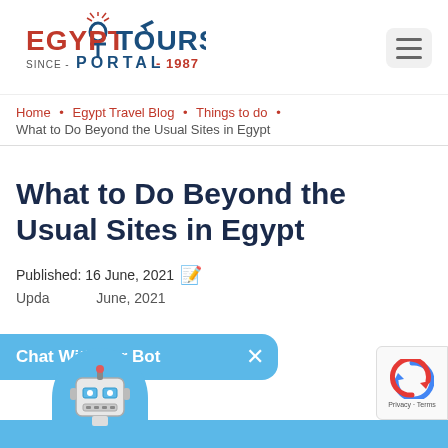[Figure (logo): Egypt Tours Portal logo with ankh symbol and airplane, red and blue colors, 'SINCE - PORTAL - 1987' text]
Home • Egypt Travel Blog • Things to do •
What to Do Beyond the Usual Sites in Egypt
What to Do Beyond the Usual Sites in Egypt
Published: 16 June, 2021
Updated: 16 June, 2021
[Figure (illustration): Chat With our Bot popup banner (blue) with X close button and robot icon at bottom]
[Figure (illustration): Google reCAPTCHA widget in bottom right corner]